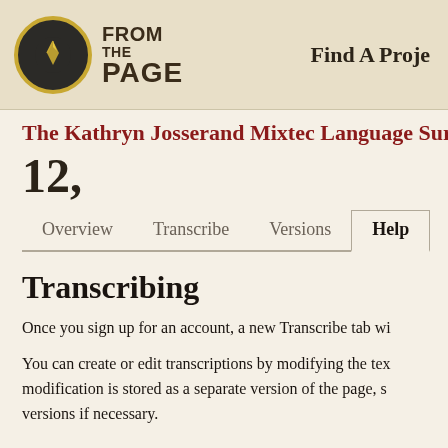FROM THE PAGE | Find A Proje
The Kathryn Josserand Mixtec Language Sur
12,
Overview  Transcribe  Versions  Help
Transcribing
Once you sign up for an account, a new Transcribe tab wi
You can create or edit transcriptions by modifying the tex modification is stored as a separate version of the page, s versions if necessary.